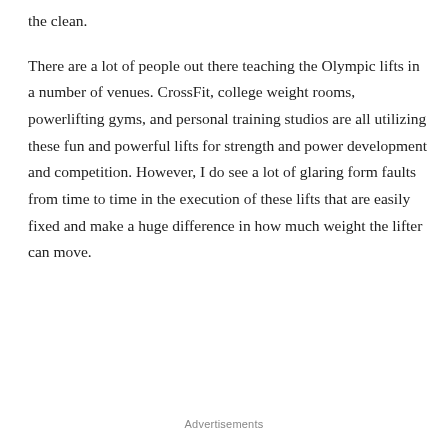the clean.
There are a lot of people out there teaching the Olympic lifts in a number of venues.  CrossFit, college weight rooms, powerlifting gyms, and personal training studios are all utilizing these fun and powerful lifts for strength and power development and competition.  However, I do see a lot of glaring form faults from time to time in the execution of these lifts that are easily fixed and make a huge difference in how much weight the lifter can move.
Advertisements